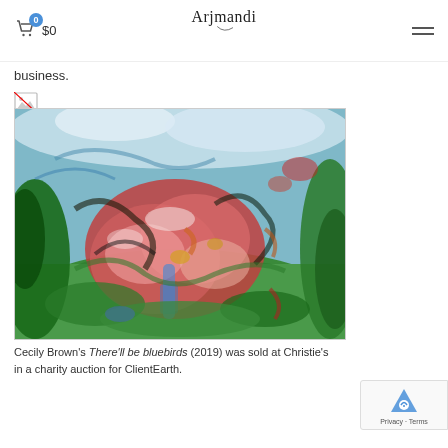$0 | Arjmandi
business.
[Figure (illustration): Broken/missing image icon placeholder]
[Figure (photo): Cecily Brown's abstract expressionist painting 'There'll be bluebirds' (2019), showing a colorful landscape with green, red, pink, blue, and white brush strokes]
Cecily Brown's There'll be bluebirds (2019) was sold at Christie's in a charity auction for ClientEarth.